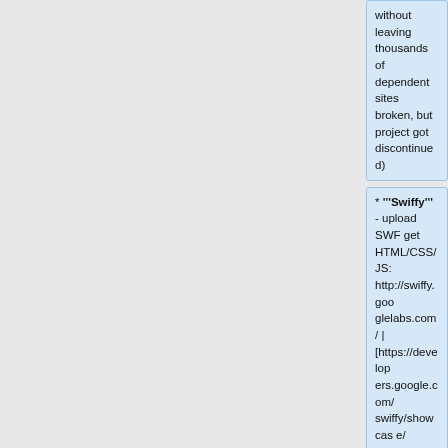without leaving thousands of dependent sites broken, but project got discontinued)
* '''Swiffy''' - upload SWF get HTML/CSS/JS: http://swiffy.googlelabs.com/ | [https://developers.google.com/swiffy/showcase/ DEMO] (deprecated and closed to new conversions) <ref>Google display ads go 100% HTML5: https://plus.google.com/+Googl